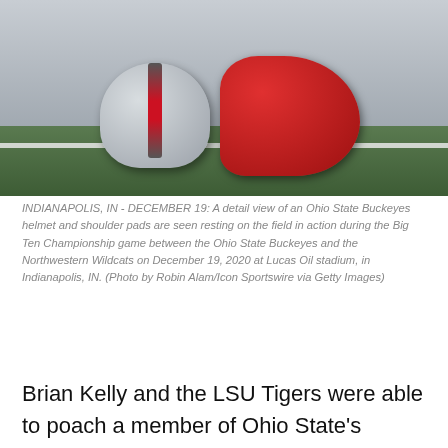[Figure (photo): A detail view of an Ohio State Buckeyes helmet and red shoulder pads resting on a football field with white yard lines visible on green grass.]
INDIANAPOLIS, IN - DECEMBER 19: A detail view of an Ohio State Buckeyes helmet and shoulder pads are seen resting on the field in action during the Big Ten Championship game between the Ohio State Buckeyes and the Northwestern Wildcats on December 19, 2020 at Lucas Oil stadium, in Indianapolis, IN. (Photo by Robin Alam/Icon Sportswire via Getty Images)
Brian Kelly and the LSU Tigers were able to poach a member of Ohio State's defensive